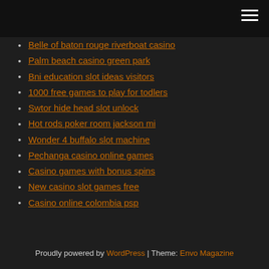Belle of baton rouge riverboat casino
Palm beach casino green park
Bni education slot ideas visitors
1000 free games to play for todlers
Swtor hide head slot unlock
Hot rods poker room jackson mi
Wonder 4 buffalo slot machine
Pechanga casino online games
Casino games with bonus spins
New casino slot games free
Casino online colombia psp
Proudly powered by WordPress | Theme: Envo Magazine